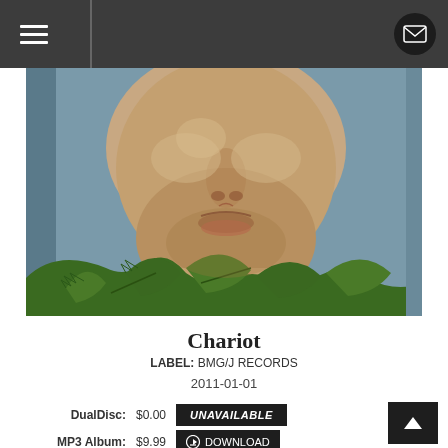Navigation header with hamburger menu and mail icon
[Figure (photo): Close-up portrait of a person's lower face and chin area, holding green holly leaves near their mouth, against a grey-blue background. Album art for 'Chariot'.]
Chariot
LABEL: BMG/J RECORDS
2011-01-01
DualDisc: $0.00  UNAVAILABLE
MP3 Album: $9.99  DOWNLOAD